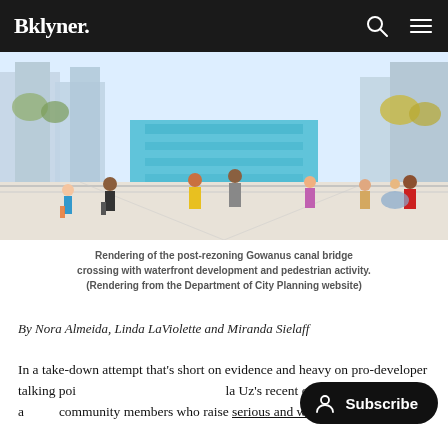Bklyner.
[Figure (illustration): Rendering of the post-rezoning Gowanus canal bridge crossing with waterfront development and pedestrian activity, showing people walking along a wide canal promenade with modern buildings in the background.]
Rendering of the post-rezoning Gowanus canal bridge crossing with waterfront development and pedestrian activity. (Rendering from the Department of City Planning website)
By Nora Almeida, Linda LaViolette and Miranda Sielaff
In a take-down attempt that's short on evidence and heavy on pro-developer talking points, Camila Uz's recent opinion piece wrongly attacks community members who raise serious and well-